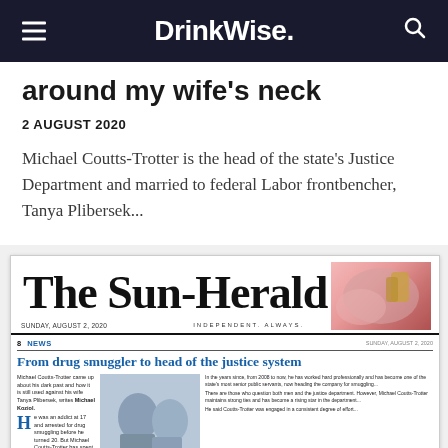DrinkWise.
around my wife's neck
2 AUGUST 2020
Michael Coutts-Trotter is the head of the state's Justice Department and married to federal Labor frontbencher, Tanya Plibersek...
[Figure (screenshot): Photograph of The Sun-Herald newspaper front page dated Sunday August 2, 2020, with headline 'From drug smuggler to head of the justice system']